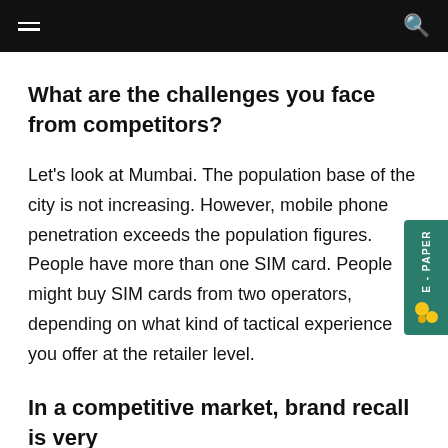What are the challenges you face from competitors?
Let's look at Mumbai. The population base of the city is not increasing. However, mobile phone penetration exceeds the population figures. People have more than one SIM card. People might buy SIM cards from two operators, depending on what kind of tactical experience you offer at the retailer level.
In a competitive market, brand recall is very